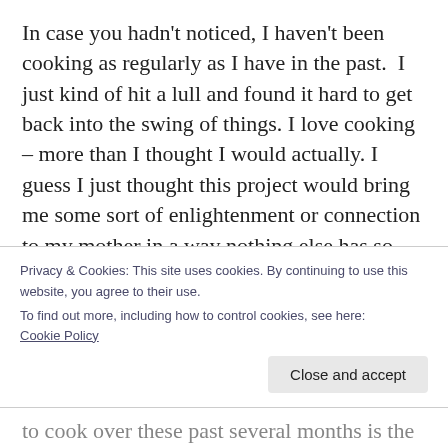In case you hadn't noticed, I haven't been cooking as regularly as I have in the past.  I just kind of hit a lull and found it hard to get back into the swing of things. I love cooking – more than I thought I would actually. I guess I just thought this project would bring me some sort of enlightenment or connection to my mother in a way nothing else has so far. And, so far, it hasn't.
But, you know what? I'm done worrying about
Privacy & Cookies: This site uses cookies. By continuing to use this website, you agree to their use.
To find out more, including how to control cookies, see here:
Cookie Policy
to cook over these past several months is the